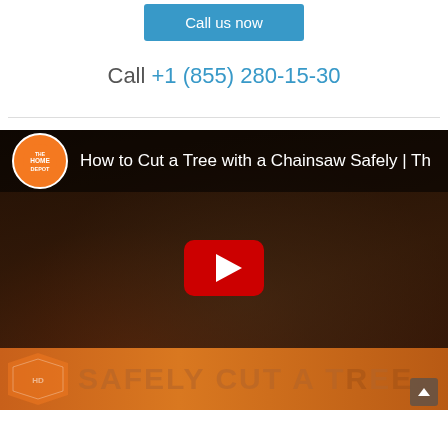Call us now
Call +1 (855) 280-15-30
[Figure (screenshot): YouTube video thumbnail for 'How to Cut a Tree with a Chainsaw Safely | The Home Depot' showing a person using a chainsaw, with The Home Depot orange logo, YouTube play button, and an orange bottom bar reading 'SAFELY CUT A TREE']